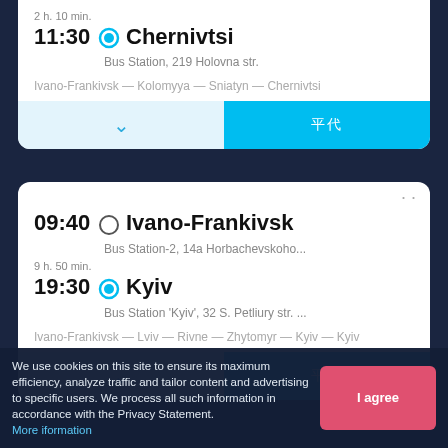[Figure (screenshot): Top card showing bus route: 11:30 Chernivtsi, Bus Station 219 Holovna str., 2h 10min duration, route Ivano-Frankivsk - Kolomyya - Sniatyn - Chernivtsi, with details and buy buttons]
[Figure (screenshot): Bottom card showing bus route: 09:40 Ivano-Frankivsk to 19:30 Kyiv, 9h 50min, Bus Station-2 14a Horbachevskoho, Bus Station Kyiv 32 S. Petliury str., route Ivano-Frankivsk - Lviv - Rivne - Zhytomyr - Kyiv - Kyiv, with details and buy buttons]
We use cookies on this site to ensure its maximum efficiency, analyze traffic and tailor content and advertising to specific users. We process all such information in accordance with the Privacy Statement. More iformation
I agree